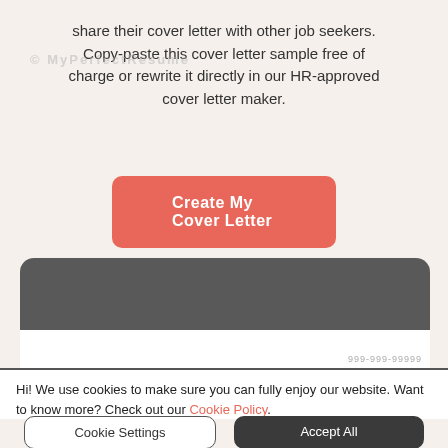share their cover letter with other job seekers. Copy-paste this cover letter sample free of charge or rewrite it directly in our HR-approved cover letter maker.
[Figure (screenshot): A coral/salmon colored rounded button labeled 'Create My Cover Letter' in white bold text]
[Figure (screenshot): A document preview section with dark gray header bar and a salmon-colored name badge showing 'Sam Young', with phone number 999-999-99999]
Hi! We use cookies to make sure you can fully enjoy our website. Want to know more? Check out our Cookie Policy.
Cookie Settings
Accept All